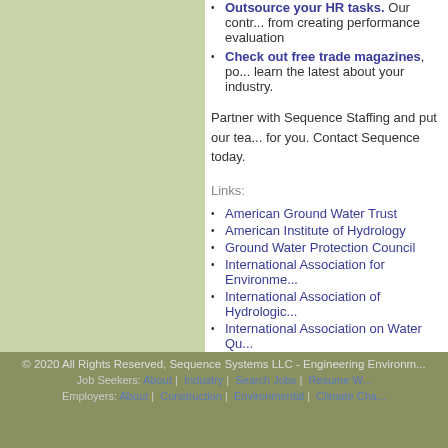Outsource your HR tasks. Our contr... from creating performance evaluation...
Check out free trade magazines, po... learn the latest about your industry.
Partner with Sequence Staffing and put our tea... for you. Contact Sequence today.
Links:
American Ground Water Trust
American Institute of Hydrology
Ground Water Protection Council
International Association for Environme...
International Association of Hydrologic...
International Association on Water Qu...
National Association of Environmental...
National Water Resources Association...
Soil & Water Conservation Society
USGS Water Links Page
© 2020 All Rights Reserved, Sequence Systems LLC - Engineering Environm... | Job Seekers: About | Industry | Search Jobs | Resume W... | Employers: About | Construction | Environmental | Climate Cha...